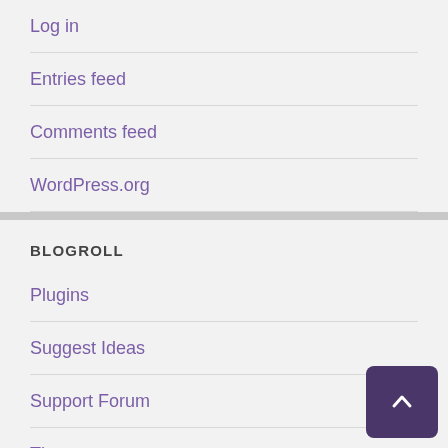Log in
Entries feed
Comments feed
WordPress.org
BLOGROLL
Plugins
Suggest Ideas
Support Forum
Themes
WordPress Blog